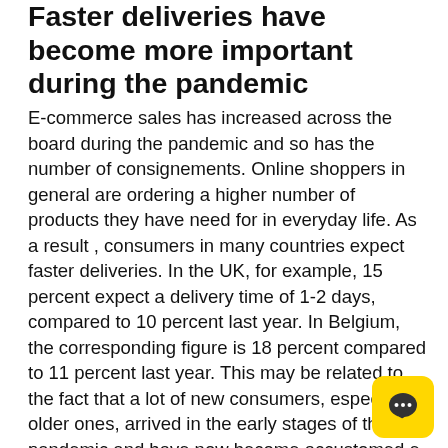Faster deliveries have become more important during the pandemic
E-commerce sales has increased across the board during the pandemic and so has the number of consignements. Online shoppers in general are ordering a higher number of products they have need for in everyday life. As a result , consumers in many countries expect faster deliveries. In the UK, for example, 15 percent expect a delivery time of 1-2 days, compared to 10 percent last year. In Belgium, the corresponding figure is 18 percent compared to 11 percent last year. This may be related to the fact that a lot of new consumers, especially older ones, arrived in the early stages of the pandemic and have now become accustomed e-commerce, with increased demands as a